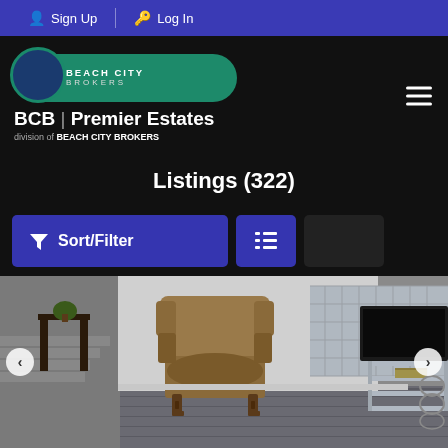Sign Up | Log In
[Figure (logo): Beach City Brokers logo - BCB Premier Estates division]
Listings (322)
Sort/Filter button and list view toggle
[Figure (photo): Interior room photo showing a wingback chair, steps, glass block wall, TV on glass stand with book]